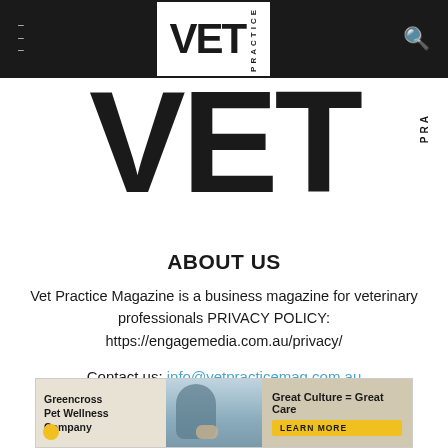VET PRACTICE (navigation bar with logo)
[Figure (logo): Large VET PRACTICE logo watermark behind content, black text on white background]
ABOUT US
Vet Practice Magazine is a business magazine for veterinary professionals PRIVACY POLICY: https://engagemedia.com.au/privacy/
Contact us: info@vetpracticemag.com.au
FOLLOW US
[Figure (illustration): Greencross Pet Wellness Company banner ad with person and dog at beach, Great Culture = Great Care tagline and LEARN MORE button]